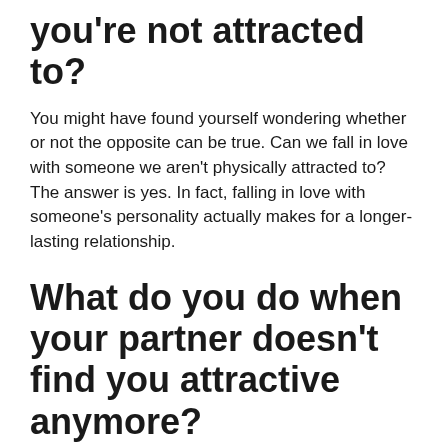you're not attracted to?
You might have found yourself wondering whether or not the opposite can be true. Can we fall in love with someone we aren't physically attracted to? The answer is yes. In fact, falling in love with someone's personality actually makes for a longer-lasting relationship.
What do you do when your partner doesn't find you attractive anymore?
Here's how you can spice things up if it feels like your partner doesn't seem sexually attracted to you.